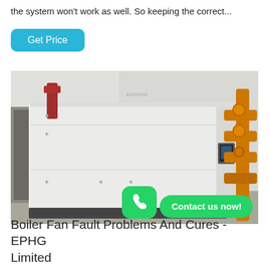the system won't work as well. So keeping the correct...
Get Price
[Figure (photo): A large white industrial boiler/heating unit installed in a room with orange pipes and equipment visible in the background. A WhatsApp contact button overlay reads 'Contact us now!']
Boiler Fan Fault Problems And Cures - EPHG Limited